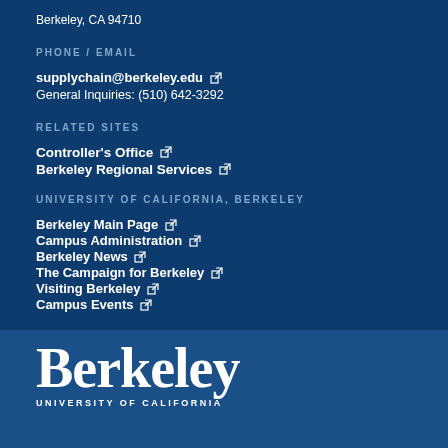Berkeley, CA 94710
PHONE / EMAIL
supplychain@berkeley.edu
General Inquiries: (510) 642-3292
RELATED SITES
Controller's Office
Berkeley Regional Services
UNIVERSITY OF CALIFORNIA, BERKELEY
Berkeley Main Page
Campus Administration
Berkeley News
The Campaign for Berkeley
Visiting Berkeley
Campus Events
[Figure (logo): University of California Berkeley logo with large Berkeley wordmark and UC subtext]